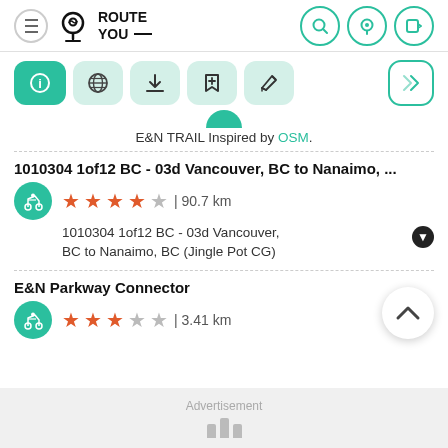[Figure (screenshot): RouteYou app header with logo, hamburger menu, and navigation icons (search, pin, export)]
[Figure (screenshot): Toolbar with 5 icon buttons: info (active/teal), globe, download, save/bookmark, edit/pencil; plus navigation arrow button on right]
E&N TRAIL Inspired by OSM.
1010304 1of12 BC - 03d Vancouver, BC to Nanaimo, ...
★★★★☆ | 90.7 km
1010304 1of12 BC - 03d Vancouver, BC to Nanaimo, BC (Jingle Pot CG)
E&N Parkway Connector
★★★☆☆ | 3.41 km
Advertisement